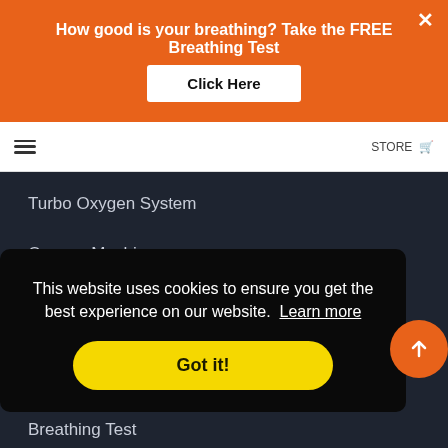How good is your breathing? Take the FREE Breathing Test
Click Here
Turbo Oxygen System
Oxygen Machines
Reservoir Bags
Mega Flow Mask
Breathing Kit
Optimal Nutrition
This website uses cookies to ensure you get the best experience on our website. Learn more
Got it!
Breathing Test